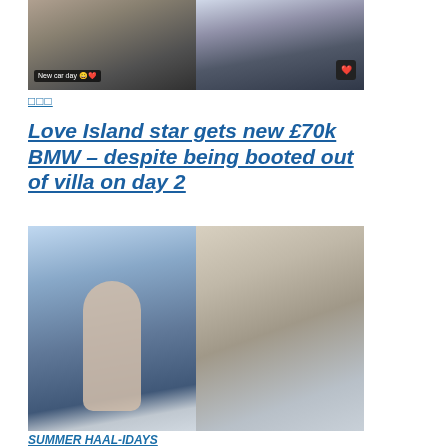[Figure (photo): Two-panel image: left panel shows a woman with a 'New car day' caption overlay with emoji, right panel shows a black BMW SUV with a red heart emoji badge]
□□□
Love Island star gets new £70k BMW – despite being booted out of villa on day 2
[Figure (photo): Two-panel beach photo: left panel shows a shirtless muscular man walking through waves, right panel shows the same man walking on beach with a woman in a red bikini top]
SUMMER HAAL-IDAYS